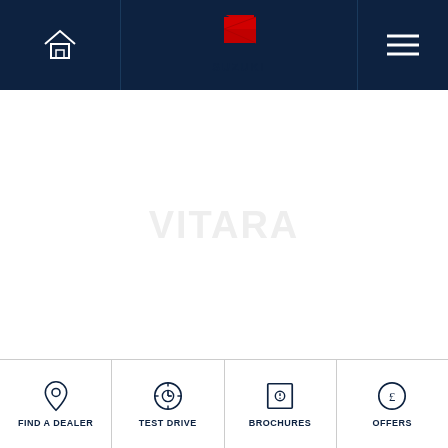[Figure (logo): Suzuki website header with home icon on left, Suzuki logo in center, hamburger menu on right, dark navy background]
[Figure (other): White main content area with faint watermark text reading 'Vitara' or similar model name]
FIND A DEALER   TEST DRIVE   BROCHURES   OFFERS